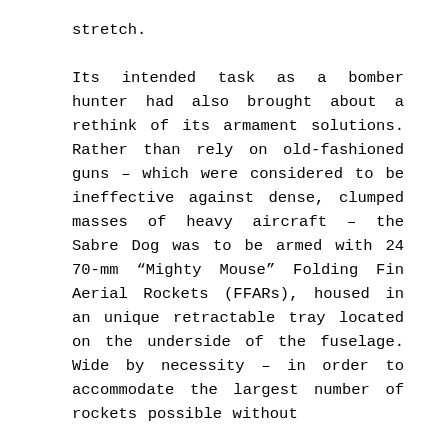stretch.

Its intended task as a bomber hunter had also brought about a rethink of its armament solutions. Rather than rely on old-fashioned guns – which were considered to be ineffective against dense, clumped masses of heavy aircraft – the Sabre Dog was to be armed with 24 70-mm “Mighty Mouse” Folding Fin Aerial Rockets (FFARs), housed in an unique retractable tray located on the underside of the fuselage. Wide by necessity – in order to accommodate the largest number of rockets possible without